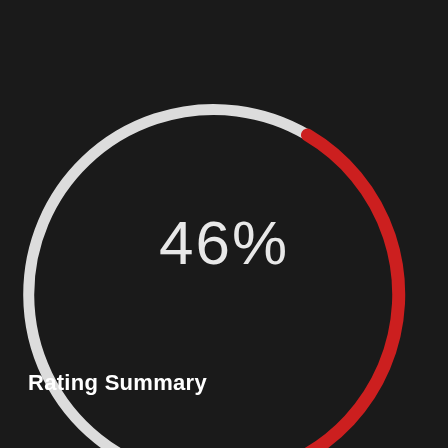[Figure (donut-chart): Rating Summary]
Rating Summary